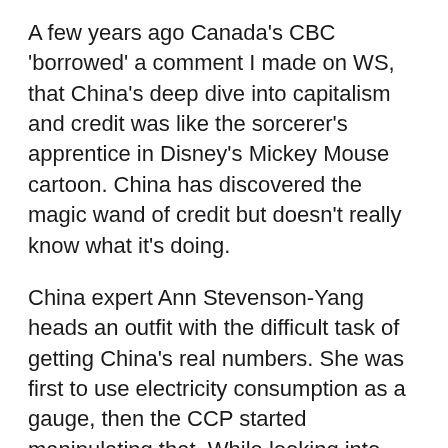A few years ago Canada's CBC 'borrowed' a comment I made on WS, that China's deep dive into capitalism and credit was like the sorcerer's apprentice in Disney's Mickey Mouse cartoon. China has discovered the magic wand of credit but doesn't really know what it's doing.
China expert Ann Stevenson-Yang heads an outfit with the difficult task of getting China's real numbers. She was first to use electricity consumption as a gauge, then the CCP started manipulating that. While looking into aluminum production ( they are drowning in it) she found one plant that wanted to shutter but its SOE bank wouldn't let it because then it